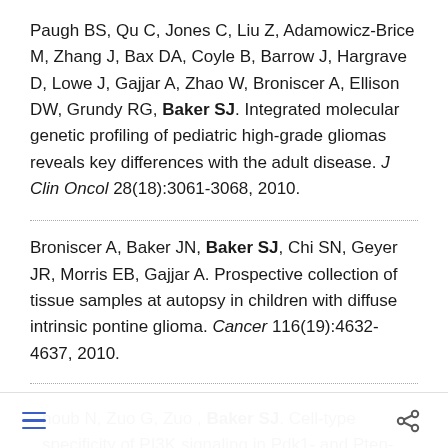Paugh BS, Qu C, Jones C, Liu Z, Adamowicz-Brice M, Zhang J, Bax DA, Coyle B, Barrow J, Hargrave D, Lowe J, Gajjar A, Zhao W, Broniscer A, Ellison DW, Grundy RG, Baker SJ. Integrated molecular genetic profiling of pediatric high-grade gliomas reveals key differences with the adult disease. J Clin Oncol 28(18):3061-3068, 2010.
Broniscer A, Baker JN, Baker SJ, Chi SN, Geyer JR, Morris EB, Gajjar A. Prospective collection of tissue samples at autopsy in children with diffuse intrinsic pontine glioma. Cancer 116(19):4632-4637, 2010.
houb N, Zuo G, Zuo , Baker SJ. Cell-type specificity of PI3K signaling in Pdk1- and Pten-deficient brain. Genes Dev 23(14):1619-1624, 2009.